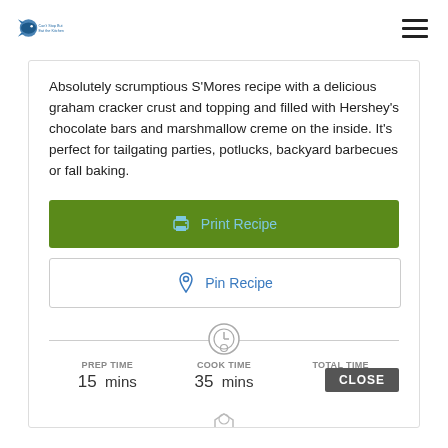Logo and navigation header
Absolutely scrumptious S'Mores recipe with a delicious graham cracker crust and topping and filled with Hershey's chocolate bars and marshmallow creme on the inside. It's perfect for tailgating parties, potlucks, backyard barbecues or fall baking.
Print Recipe
Pin Recipe
PREP TIME 15 mins
COOK TIME 35 mins
TOTAL TIME 50 mins